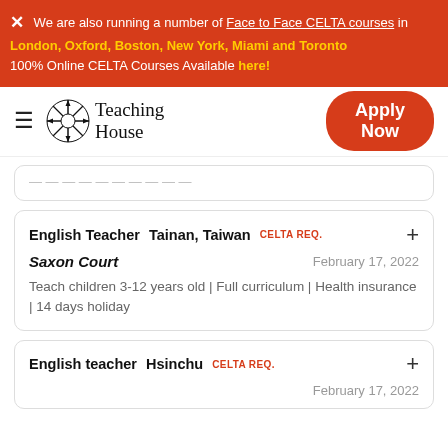We are also running a number of Face to Face CELTA courses in London, Oxford, Boston, New York, Miami and Toronto
100% Online CELTA Courses Available here!
[Figure (logo): Teaching House logo with compass-star icon and text 'Teaching House']
Apply Now
(partial, clipped top card)
English Teacher   Tainan, Taiwan   CELTA REQ.
Saxon Court   February 17, 2022
Teach children 3-12 years old | Full curriculum | Health insurance | 14 days holiday
English teacher   Hsinchu   CELTA REQ.
February 17, 2022